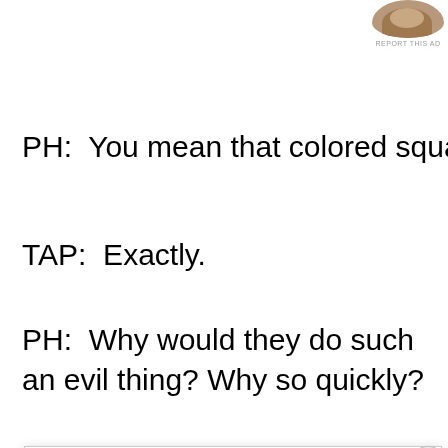[Figure (photo): Partial circular cropped photo of a person at top right, with 'REPORT THIS AD' label below]
PH:  You mean that colored square?
TAP:  Exactly.
PH:  Why would they do such an evil thing? Why so quickly?
Privacy & Cookies: This site uses cookies. By continuing to use this website, you agree to their use.
To find out more, including how to control cookies, see here: Cookie Policy
Close and accept